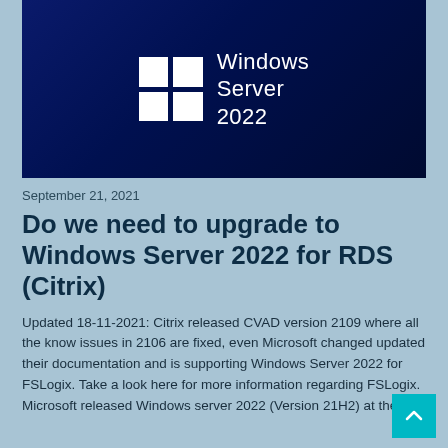[Figure (logo): Windows Server 2022 logo on dark blue gradient background — white four-square Windows logo grid on the left, and white text 'Windows Server 2022' on the right]
September 21, 2021
Do we need to upgrade to Windows Server 2022 for RDS (Citrix)
Updated 18-11-2021: Citrix released CVAD version 2109 where all the know issues in 2106 are fixed, even Microsoft changed updated their documentation and is supporting Windows Server 2022 for FSLogix. Take a look here for more information regarding FSLogix. Microsoft released Windows server 2022 (Version 21H2) at the